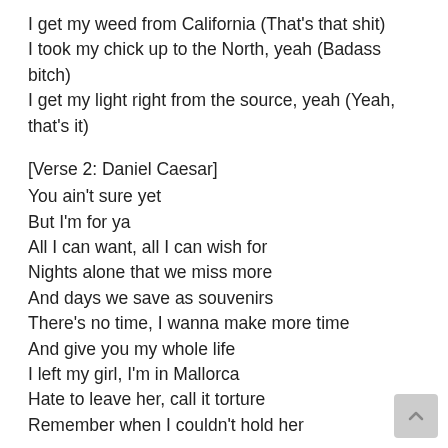I get my weed from California (That's that shit)
I took my chick up to the North, yeah (Badass bitch)
I get my light right from the source, yeah (Yeah, that's it)
[Verse 2: Daniel Caesar]
You ain't sure yet
But I'm for ya
All I can want, all I can wish for
Nights alone that we miss more
And days we save as souvenirs
There's no time, I wanna make more time
And give you my whole life
I left my girl, I'm in Mallorca
Hate to leave her, call it torture
Remember when I couldn't hold her